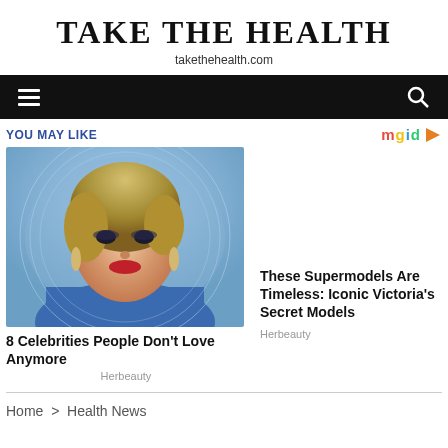TAKE THE HEALTH
takethehealth.com
[Figure (screenshot): Black navigation bar with hamburger menu icon on left and search icon on right]
YOU MAY LIKE
[Figure (photo): Portrait photo of a blonde woman with short hair, heavy eye makeup, red lipstick, wearing a blue outfit, smiling at camera]
8 Celebrities People Don't Love Anymore
Herbeauty
These Supermodels Are Timeless: Iconic Victoria's Secret Models
Herbeauty
Home > Health News